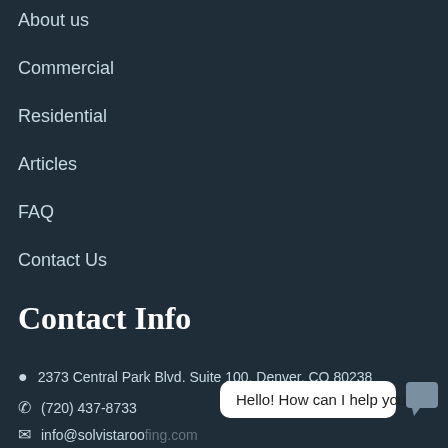About us
Commercial
Residential
Articles
FAQ
Contact Us
Contact Info
2373 Central Park Blvd. Suite 100, Denver, CO 80238
(720) 437-8733
info@solvistaroofing.com
Hello! How can I help you?